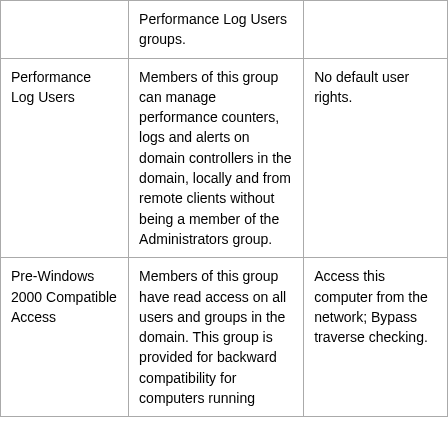|  | Performance Log Users groups. |  |
| Performance Log Users | Members of this group can manage performance counters, logs and alerts on domain controllers in the domain, locally and from remote clients without being a member of the Administrators group. | No default user rights. |
| Pre-Windows 2000 Compatible Access | Members of this group have read access on all users and groups in the domain. This group is provided for backward compatibility for computers running | Access this computer from the network; Bypass traverse checking. |